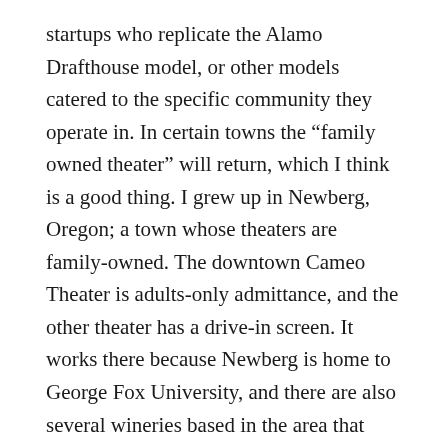startups who replicate the Alamo Drafthouse model, or other models catered to the specific community they operate in. In certain towns the “family owned theater” will return, which I think is a good thing. I grew up in Newberg, Oregon; a town whose theaters are family-owned. The downtown Cameo Theater is adults-only admittance, and the other theater has a drive-in screen. It works there because Newberg is home to George Fox University, and there are also several wineries based in the area that bring in older, wealthy wine tourists. There is still a market for high-quality theatrical experiences in such towns.
I know that as a consumer, I am done going to a theater to pay $20 for a bag of cold nacho chips and a